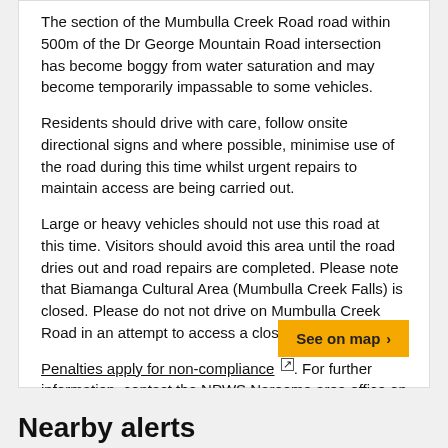The section of the Mumbulla Creek Road road within 500m of the Dr George Mountain Road intersection has become boggy from water saturation and may become temporarily impassable to some vehicles.
Residents should drive with care, follow onsite directional signs and where possible, minimise use of the road during this time whilst urgent repairs to maintain access are being carried out.
Large or heavy vehicles should not use this road at this time. Visitors should avoid this area until the road dries out and road repairs are completed. Please note that Biamanga Cultural Area (Mumbulla Creek Falls) is closed. Please do not not drive on Mumbulla Creek Road in an attempt to access a closed area.
Penalties apply for non-compliance [ext link]. For further information, contact the NPWS Narooma area office on 02 4476 0800 or visit the NSW National Parks safety page for park safety guidelines.
See on map
Nearby alerts